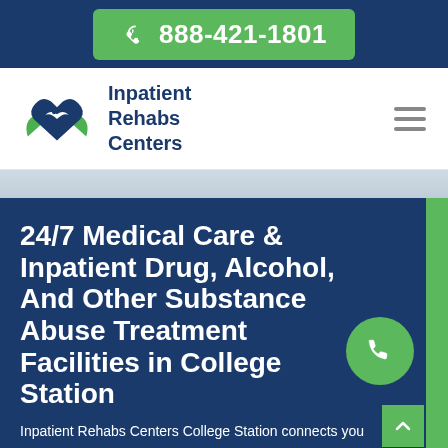888-421-1801
[Figure (logo): Inpatient Rehabs Centers logo with blue heart and green hands]
Inpatient Rehabs Centers
[Figure (illustration): Light blue/gray hospital or building background strip]
24/7 Medical Care & Inpatient Drug, Alcohol, And Other Substance Abuse Treatment Facilities in College Station
Inpatient Rehabs Centers College Station connects you